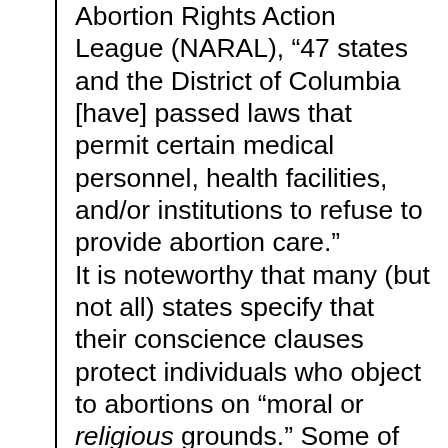Abortion Rights Action League (NARAL), “47 states and the District of Columbia [have] passed laws that permit certain medical personnel, health facilities, and/or institutions to refuse to provide abortion care.” It is noteworthy that many (but not all) states specify that their conscience clauses protect individuals who object to abortions on “moral or religious grounds.” Some of these statutes offer